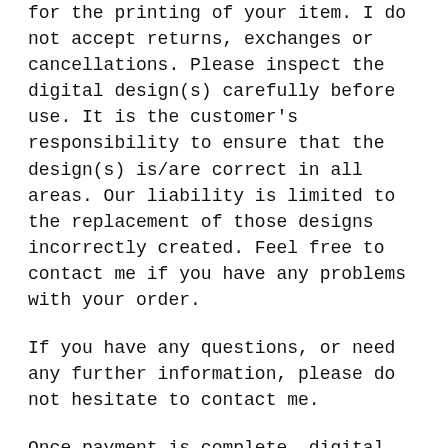for the printing of your item. I do not accept returns, exchanges or cancellations. Please inspect the digital design(s) carefully before use. It is the customer's responsibility to ensure that the design(s) is/are correct in all areas. Our liability is limited to the replacement of those designs incorrectly created. Feel free to contact me if you have any problems with your order.
If you have any questions, or need any further information, please do not hesitate to contact me.
Once payment is complete, digital files will be available. This is usually an instant process but it may take 5 to 10 minutes, so please be patient. They are automatically sent from this website. ATS does not send out the files.
This listing is for a digital product; no physical product will be sent.